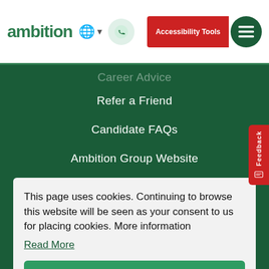ambition — Accessibility Tools
Career Advice
Refer a Friend
Candidate FAQs
Ambition Group Website
Contact Us
This page uses cookies. Continuing to browse this website will be seen as your consent to us for placing cookies. More information Read More
Got it!